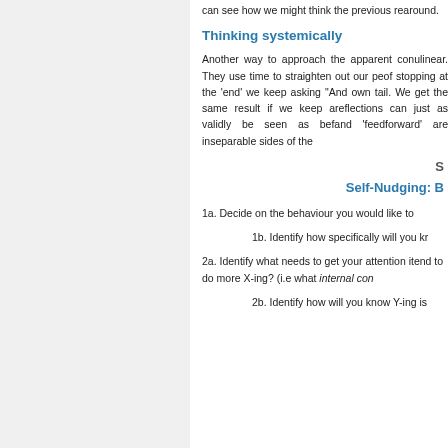can see how we might think the previous re... around.
Thinking systemically
Another way to approach the apparent conu... linear. They use time to straighten out our pe... of stopping at the 'end' we keep asking "And ... own tail. We get the same result if we keep a... reflections can just as validly be seen as bef... and 'feedforward' are inseparable sides of the...
S
Self-Nudging: B
1a. Decide on the behaviour you would like to
1b. Identify how specifically will you kr
2a. Identify what needs to get your attention i... tend to do more X-ing?  (i.e what internal con...
2b. Identify how will you know Y-ing is